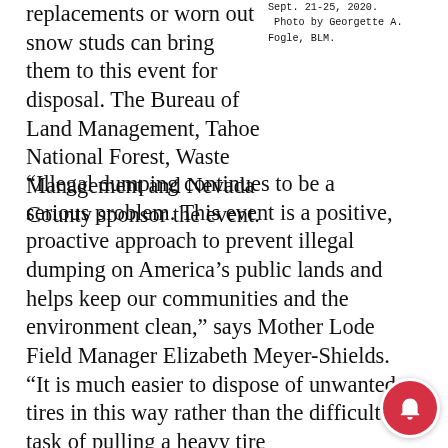replacements or worn out snow studs can bring them to this event for disposal. The Bureau of Land Management, Tahoe National Forest, Waste Management and Nevada County sponsor the event.
Sept. 21-25, 2020. Photo by Georgette A. Fogle, BLM.
“Illegal dumping continues to be a serious problem. This event is a positive, proactive approach to prevent illegal dumping on America’s public lands and helps keep our communities and the environment clean,” says Mother Lode Field Manager Elizabeth Meyer-Shields. “It is much easier to dispose of unwanted tires in this way rather than the difficult task of pulling a heavy tire